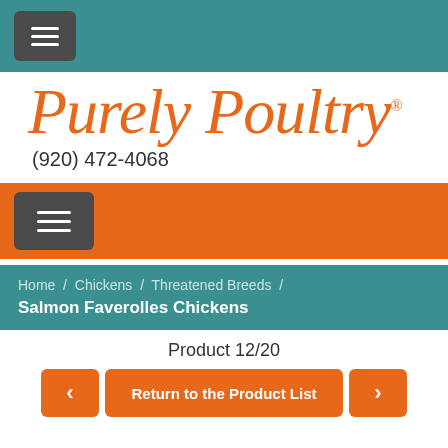[Figure (screenshot): Top navigation bar with hamburger menu button on teal background]
[Figure (logo): Purely Poultry logo in orange italic script font with registered trademark symbol]
(920) 472-4068
[Figure (screenshot): Orange navigation bar with hamburger menu button]
Home / Chickens / Threatened Breeds / Salmon Faverolles Chickens
Product 12/20
Return to the Product List